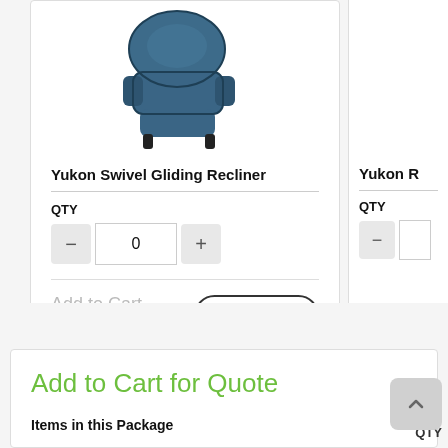[Figure (photo): Blue leather Yukon Swivel Gliding Recliner chair, partially visible at top]
Yukon Swivel Gliding Recliner
QTY
0
Add to Cart for Quote
See Details
Yukon R…
QTY
Add to Cart for Quote
Add to Cart for Quote
Items in this Package
QTY